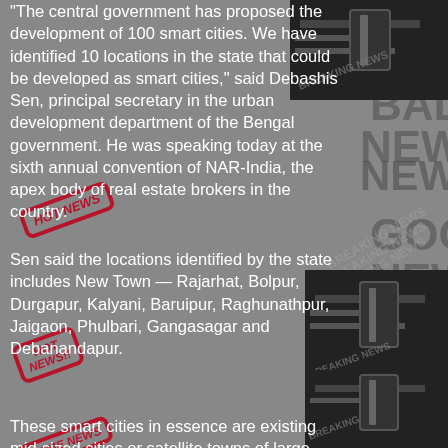The central government has proposed the development of 100 smart cities. We have identified 10 locations in the state that could be developed as smart cities," said Debashis Sen, principal secretary in the urban development department of the Bengal government. He was speaking today at the sixth annual convention of NAR-India, the apex body of real estate brokers in the country.
Sen said the locations identified by the state includes New Town — Rajarhat, Bolpur, Durgapur, Kalyani, Baruipur, Raghunathpur, Jaigaon, Phulbari, Gangasagar and Debanandapur.
These smart cities in essence are existing mid-sized cities or satellite towns of large cities, which would be modernised to cater to urban housing and industrial requirements in the future.
Sen said these cities could be developed to provide modern infrastructure along with information technology-based civic amenities.
"These locations are identified on the basis of where urban